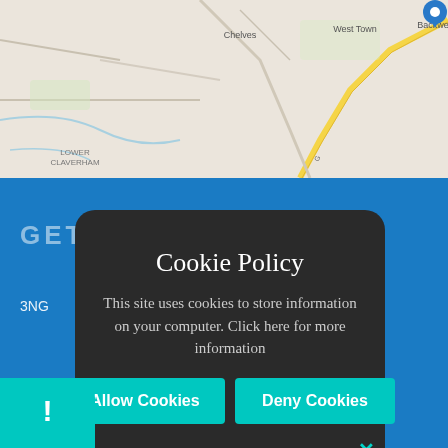[Figure (map): Google Maps style road map showing Chelves, West Town, Backwell, Lower Claverham area with roads and a blue location pin marker in top right]
GET IN TOUCH
3NG
[Figure (screenshot): Cookie policy modal dialog with dark background, close X button, Cookie Policy title, body text about cookies, Allow Cookies and Deny Cookies buttons]
Cookie Policy
This site uses cookies to store information on your computer. Click here for more information
Allow Cookies
Deny Cookies
!